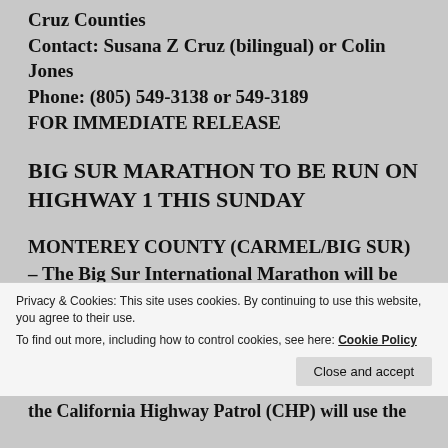Cruz Counties
Contact: Susana Z Cruz (bilingual) or Colin Jones
Phone: (805) 549-3138 or 549-3189
FOR IMMEDIATE RELEASE
BIG SUR MARATHON TO BE RUN ON HIGHWAY 1 THIS SUNDAY
MONTEREY COUNTY (CARMEL/BIG SUR) – The Big Sur International Marathon will be run along Highway 1 beginning at 7:00 a.m. on Sunday, April 27. The race will start in Big Sur and will end at Rio Road in Carmel.
Privacy & Cookies: This site uses cookies. By continuing to use this website, you agree to their use. To find out more, including how to control cookies, see here: Cookie Policy
the California Highway Patrol (CHP) will use the